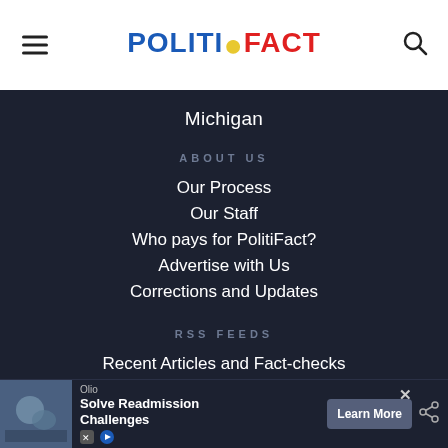POLITIFACT
Michigan
ABOUT US
Our Process
Our Staff
Who pays for PolitiFact?
Advertise with Us
Corrections and Updates
RSS FEEDS
Recent Articles and Fact-checks
Recent Fact-checks
[Figure (screenshot): Advertisement banner: Olio - Solve Readmission Challenges with Learn More button]